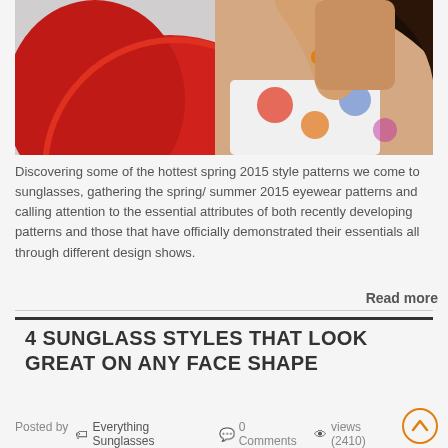[Figure (photo): Woman in floral bikini holding a red umbrella against a light background, wearing an orange bracelet]
Discovering some of the hottest spring 2015 style patterns we come to sunglasses, gathering the spring/ summer 2015 eyewear patterns and calling attention to the essential attributes of both recently developing patterns and those that have officially demonstrated their essentials all through different design shows.
Read more
4 SUNGLASS STYLES THAT LOOK GREAT ON ANY FACE SHAPE
Posted by  Everything Sunglasses  0 Comments  views (2410)